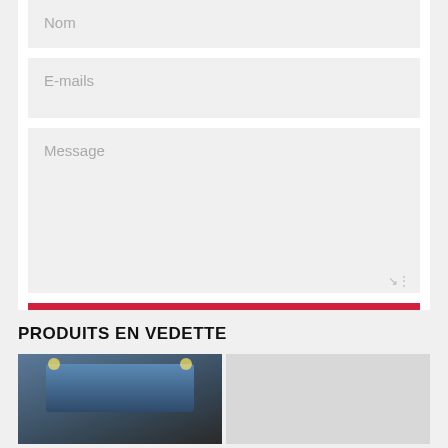Nom
E-mails
Message
PUBLIER LE COMMENTAIRE
PRODUITS EN VEDETTE
[Figure (photo): Product photo showing a person in a gym/sports context]
[Figure (photo): Second product photo placeholder]